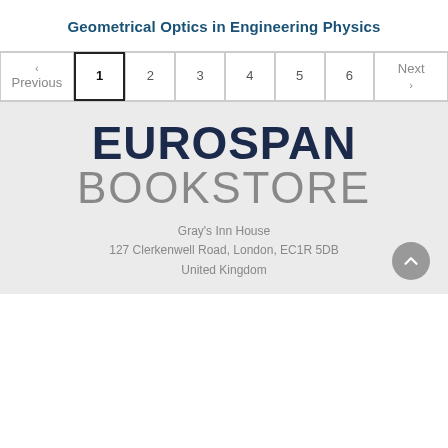Geometrical Optics in Engineering Physics
[Figure (screenshot): Pagination navigation bar with Previous, 1 (active), 2, 3, 4, 5, 6, Next buttons]
[Figure (logo): Eurospan Bookstore logo with address: Gray's Inn House, 127 Clerkenwell Road, London, EC1R 5DB, United Kingdom]